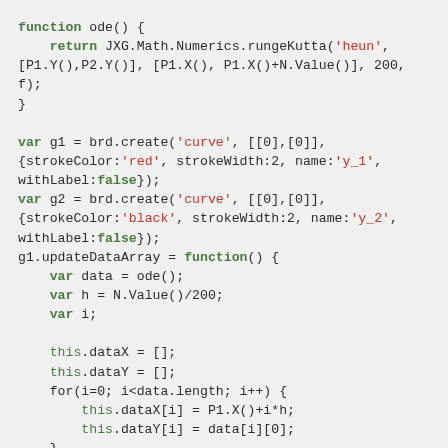JavaScript code snippet showing ODE (ordinary differential equation) solver using JSXGraph library with Heun's method (Runge-Kutta), creating curve objects g1 and g2 with updateDataArray functions.